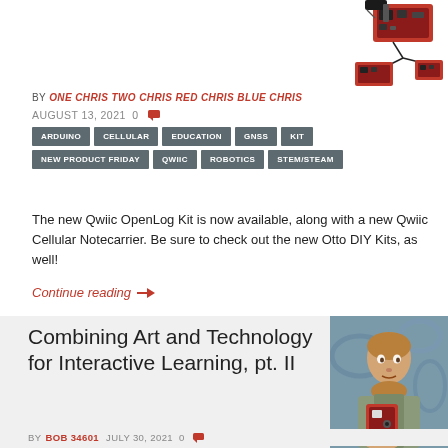[Figure (photo): SparkFun red electronic circuit boards with connectors shown in top-right corner]
BY ONE CHRIS TWO CHRIS RED CHRIS BLUE CHRIS
AUGUST 13, 2021  0
ARDUINO
CELLULAR
EDUCATION
GNSS
KIT
NEW PRODUCT FRIDAY
QWIIC
ROBOTICS
STEM/STEAM
The new Qwiic OpenLog Kit is now available, along with a new Qwiic Cellular Notecarrier. Be sure to check out the new Otto DIY Kits, as well!
Continue reading →
Combining Art and Technology for Interactive Learning, pt. II
[Figure (photo): Van Gogh style painting of a man holding a red SparkFun device]
BY BOB 34601 JULY 30, 2021  0